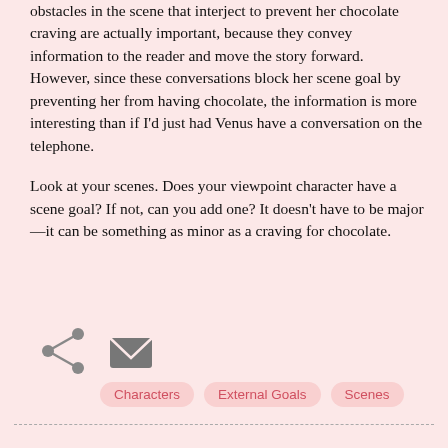obstacles in the scene that interject to prevent her chocolate craving are actually important, because they convey information to the reader and move the story forward. However, since these conversations block her scene goal by preventing her from having chocolate, the information is more interesting than if I'd just had Venus have a conversation on the telephone.
Look at your scenes. Does your viewpoint character have a scene goal? If not, can you add one? It doesn't have to be major—it can be something as minor as a craving for chocolate.
[Figure (infographic): Share icon (less-than symbol style) and email/envelope icon as UI action buttons]
Characters
External Goals
Scenes